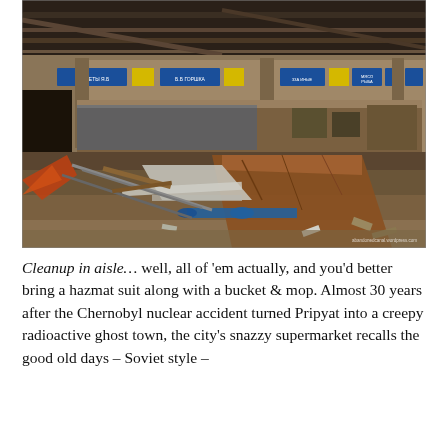[Figure (photo): Interior of an abandoned Soviet-era supermarket in Pripyat, Ukraine. The large building shows extensive decay — debris, rusted metal shelving and structural elements scattered across a dirt floor. Blue and yellow Soviet-era signage (in Cyrillic) is still visible above checkout counters in the background. Ceiling pipes and girders are visible overhead. A watermark reads 'abandonedcanal.wordpress.com'.]
Cleanup in aisle… well, all of 'em actually, and you'd better bring a hazmat suit along with a bucket & mop. Almost 30 years after the Chernobyl nuclear accident turned Pripyat into a creepy radioactive ghost town, the city's snazzy supermarket recalls the good old days – Soviet style –